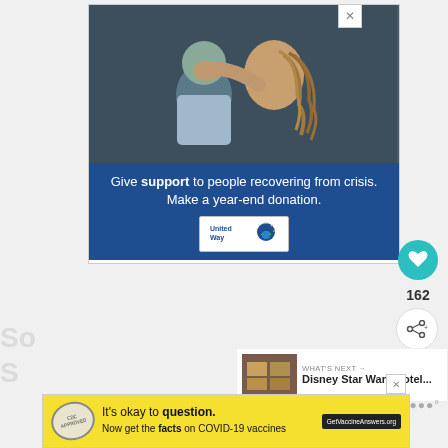[Figure (photo): Advertisement: United Way. Photo of a woman with braided hair kissing a child on the forehead. Blue banner text reads 'Give support to people recovering from crisis. Make a year-end donation.' United Way logo below.]
162
[Figure (infographic): WHAT'S NEXT panel with thumbnail image of Disney Star Wars Hotel and arrow]
Disney Star Wars Hotel...
[Figure (photo): Bottom advertisement: 'It's okay to question. Now get the facts on COVID-19 vaccines GetVaccineAnswers.org' on yellow background with stamp graphic.]